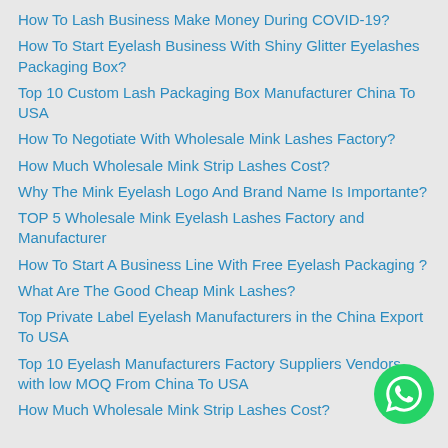How To Lash Business Make Money During COVID-19?
How To Start Eyelash Business With Shiny Glitter Eyelashes Packaging Box?
Top 10 Custom Lash Packaging Box Manufacturer China To USA
How To Negotiate With Wholesale Mink Lashes Factory?
How Much Wholesale Mink Strip Lashes Cost?
Why The Mink Eyelash Logo And Brand Name Is Importante?
TOP 5 Wholesale Mink Eyelash Lashes Factory and Manufacturer
How To Start A Business Line With Free Eyelash Packaging ?
What Are The Good Cheap Mink Lashes?
Top Private Label Eyelash Manufacturers in the China Export To USA
Top 10 Eyelash Manufacturers Factory Suppliers Vendors with low MOQ From China To USA
How Much Wholesale Mink Strip Lashes Cost?